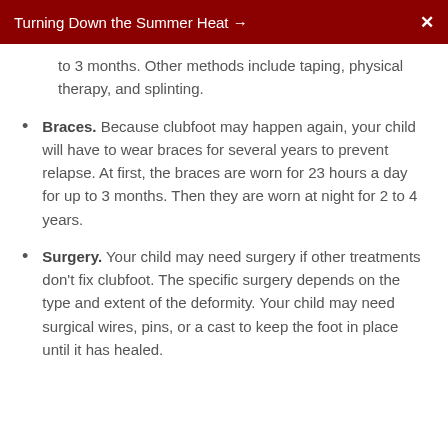Turning Down the Summer Heat → X
to 3 months. Other methods include taping, physical therapy, and splinting.
Braces. Because clubfoot may happen again, your child will have to wear braces for several years to prevent relapse. At first, the braces are worn for 23 hours a day for up to 3 months. Then they are worn at night for 2 to 4 years.
Surgery. Your child may need surgery if other treatments don't fix clubfoot. The specific surgery depends on the type and extent of the deformity. Your child may need surgical wires, pins, or a cast to keep the foot in place until it has healed.